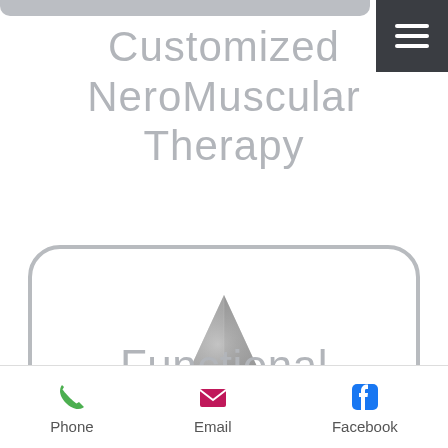[Figure (other): Dark grey hamburger menu button in top-right corner with three white horizontal lines]
Customized NeroMuscular Therapy
[Figure (logo): 3D metallic silver triangle/pyramid logo inside a rounded rectangle border]
Functional Nutrition
[Figure (other): Partially visible rounded rectangle card at the bottom]
Phone  Email  Facebook